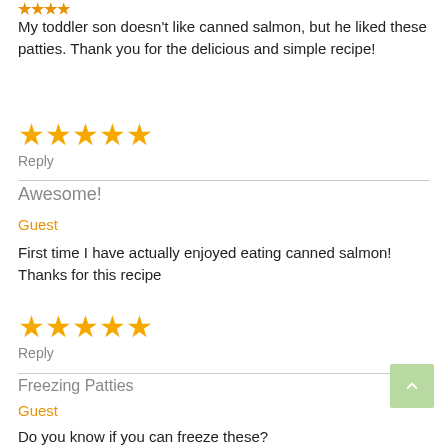My toddler son doesn't like canned salmon, but he liked these patties. Thank you for the delicious and simple recipe!
[Figure (other): 5 orange/gold star rating icons]
Reply
Awesome!
Guest
First time I have actually enjoyed eating canned salmon! Thanks for this recipe
[Figure (other): 5 orange/gold star rating icons]
Reply
Freezing Patties
Guest
Do you know if you can freeze these?